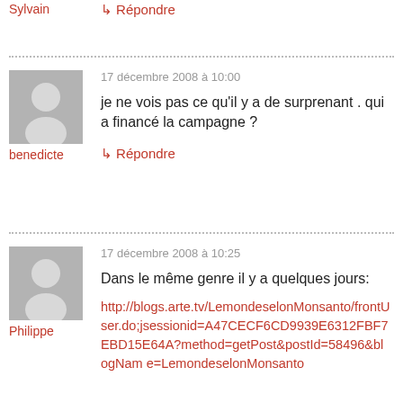Sylvain
↳ Répondre
17 décembre 2008 à 10:00
je ne vois pas ce qu'il y a de surprenant . qui a financé la campagne ?
benedicte
↳ Répondre
17 décembre 2008 à 10:25
Dans le même genre il y a quelques jours:
Philippe
http://blogs.arte.tv/LemondeselonMonsanto/frontUser.do;jsessionid=A47CECF6CD9939E6312FBF7EBD15E64A?method=getPost&postId=58496&blogName=LemondeselonMonsanto